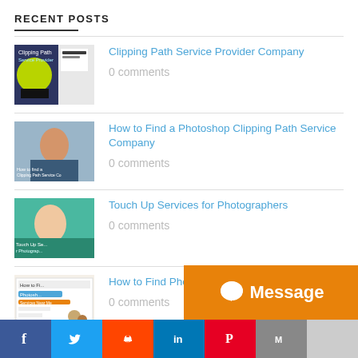RECENT POSTS
Clipping Path Service Provider Company
0 comments
How to Find a Photoshop Clipping Path Service Company
0 comments
Touch Up Services for Photographers
0 comments
How to Find Photoshop Services Near Me
0 comments